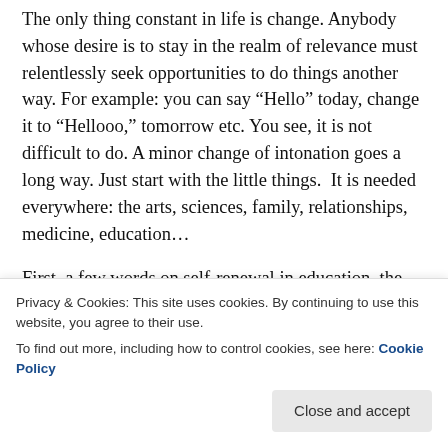The only thing constant in life is change. Anybody whose desire is to stay in the realm of relevance must relentlessly seek opportunities to do things another way. For example: you can say “Hello” today, change it to “Hellooo,” tomorrow etc. You see, it is not difficult to do. A minor change of intonation goes a long way. Just start with the little things.  It is needed everywhere: the arts, sciences, family, relationships, medicine, education…
First, a few words on self-renewal in education, the vocation that puts food on my table now and shirt on my back. Any teacher that strives to maintain the status
Privacy & Cookies: This site uses cookies. By continuing to use this website, you agree to their use.
To find out more, including how to control cookies, see here: Cookie Policy